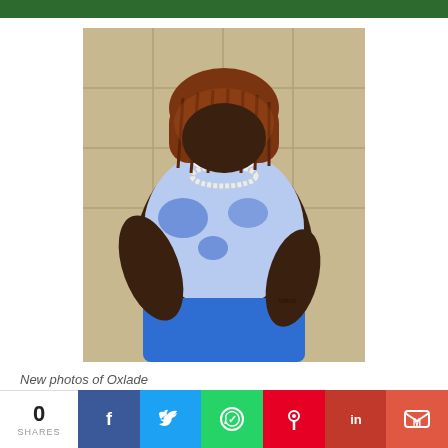[Figure (photo): Person wearing a white face mask, blue and white patterned shirt, pearl necklace, blue patterned pants, with braided reddish-brown hair, seated against a beige tiled wall, with visible tattoos on arms.]
New photos of Oxlade
[Figure (photo): Partial view of another photo at the bottom of the page]
0 SHARES | Facebook | Twitter | WhatsApp | Pinterest | LinkedIn | Gmail